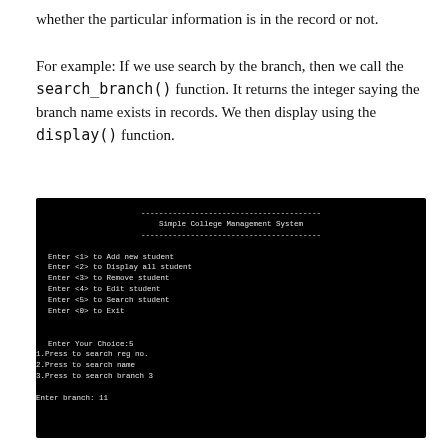whether the particular information is in the record or not.

For example: If we use search by the branch, then we call the search_branch() function. It returns the integer saying the branch name exists in records. We then display using the display() function.
[Figure (screenshot): Terminal screenshot showing Simple College Management System menu with options to Add new student, Display all student, Remove student, Edit student, Search student, Exit. User selected option 5 (Search student), then chose to search by branch (option 3), and entered branch: 11.]